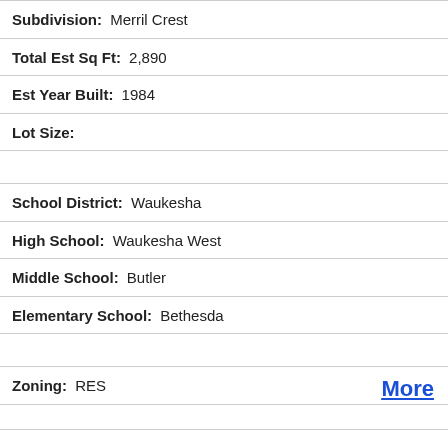Subdivision: Merril Crest
Total Est Sq Ft: 2,890
Est Year Built: 1984
Lot Size:
School District: Waukesha
High School: Waukesha West
Middle School: Butler
Elementary School: Bethesda
Zoning: RES
More